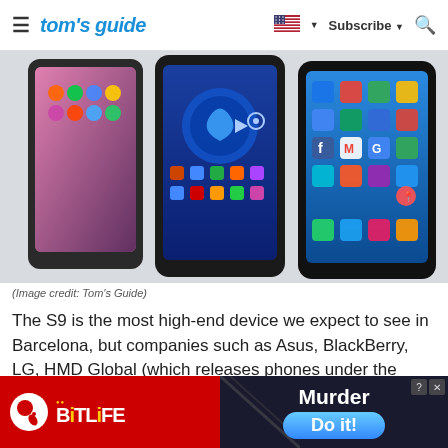tom's guide | Subscribe | Search
[Figure (photo): Three Android smartphones laid on a white surface, showing their screens with app icons. Left phone shows a colorful display, center phone has a blue wallpaper with app icons, right phone shows Google apps on home screen.]
(Image credit: Tom's Guide)
The S9 is the most high-end device we expect to see in Barcelona, but companies such as Asus, BlackBerry, LG, HMD Global (which releases phones under the
[Figure (other): Advertisement banner with two sections: left side shows BitLife game logo (red background with white sperm icon and BiTLiFE text in white and yellow), right side shows dark background with 'Murder' text and 'Do it!' blue button.]